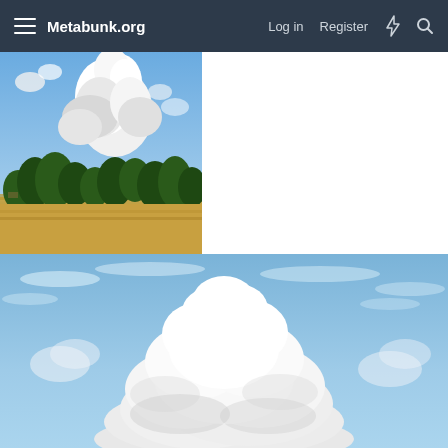Metabunk.org  Log in  Register
[Figure (photo): Pyrocumulus or large cumulonimbus cloud rising above a landscape with green trees and dry golden grass, blue sky background, photographed from ground level.]
[Figure (photo): Large white cumulus congestus or cumulonimbus cloud against blue sky with scattered cirrus clouds, close-up view showing billowing cauliflower-like tops.]